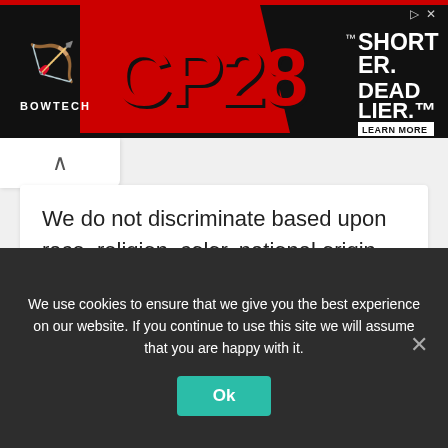[Figure (screenshot): Bowtech CP28 advertisement banner — black background with red 'CP28' logo text, 'BOWTECH' brand text, and 'SHORTER. DEADLIER.' tagline with a 'LEARN MORE' button on the right.]
We do not discriminate based upon race, religion, color, national origin, sex , sexual orientation, gender identity, gender expression, age, status as a protected veteran, status as an individual with a disability, or other applicable legally protected characteristics.
We use cookies to ensure that we give you the best experience on our website. If you continue to use this site we will assume that you are happy with it.